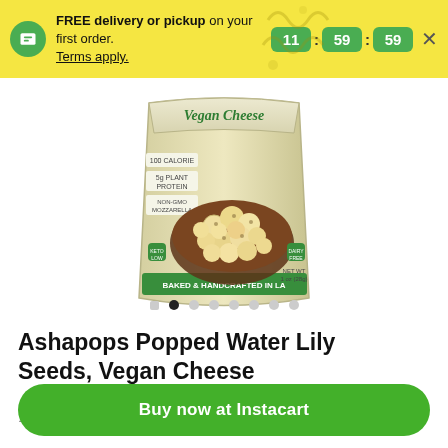FREE delivery or pickup on your first order. Terms apply. 11:59:59
[Figure (photo): Ashapops Popped Water Lily Seeds Vegan Cheese product package showing a bag with text 'Vegan Cheese', '100 Calorie', '5g Plant Protein', and popped water lily seeds in a bowl. Green and white packaging with 'Baked & Handcrafted in LA' label.]
Ashapops Popped Water Lily Seeds, Vegan Cheese
1 oz
Buy now at Instacart